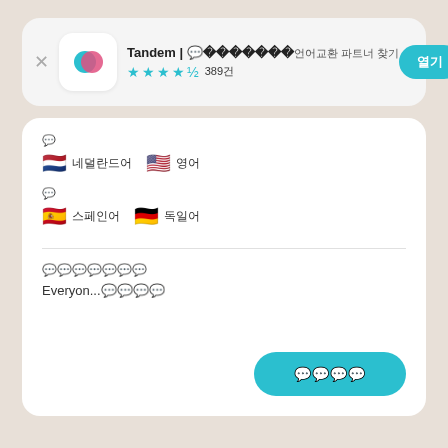Tandem | 언어교환 파트너 찾기  ★★★★½ 389건  열기
사용 언어
🇳🇱 네덜란드어  🇺🇸 영어
배우는 언어
🇪🇸 스페인어  🇩🇪 독일어
자기소개
Everyon...더보기
메시지 보내기